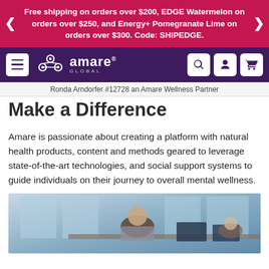Free shipping on orders over $200, EDGE Watermelon on orders over $250, and Energy+ Pomegranate Lime on orders over $300. Code: SHIPEDGE.
[Figure (screenshot): Amare Global navigation bar with hamburger menu, logo, and search/account/cart icons on dark purple background]
Ronda Arndorfer #12728 an Amare Wellness Partner
Make a Difference
Amare is passionate about creating a platform with natural health products, content and methods geared to leverage state-of-the-art technologies, and social support systems to guide individuals on their journey to overall mental wellness.
[Figure (photo): Office scene with people working at computers, viewed from above slightly, blurred background with large windows]